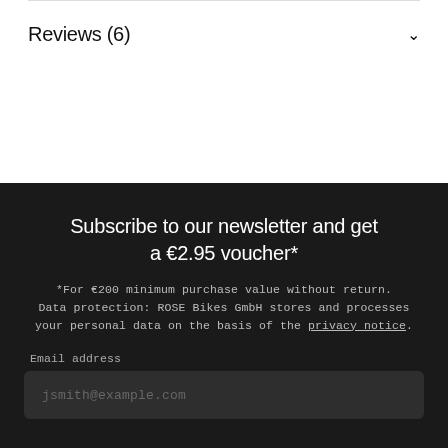Reviews (6)
Subscribe to our newsletter and get a €2.95 voucher*
*For €200 minimum purchase value without return. Data protection: ROSE Bikes GmbH stores and processes your personal data on the basis of the privacy notice.
Email address
jsmith@example.com